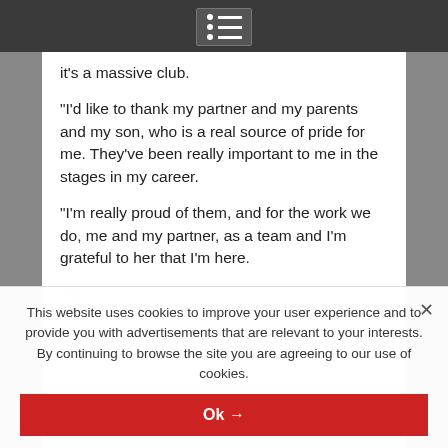Menu icon / navigation bar
it's a massive club.
“I’d like to thank my partner and my parents and my son, who is a real source of pride for me. They’ve been really important to me in the stages in my career.
“I’m really proud of them, and for the work we do, me and my partner, as a team and I’m grateful to her that I’m here.
This website uses cookies to improve your user experience and to provide you with advertisements that are relevant to your interests. By continuing to browse the site you are agreeing to our use of cookies.